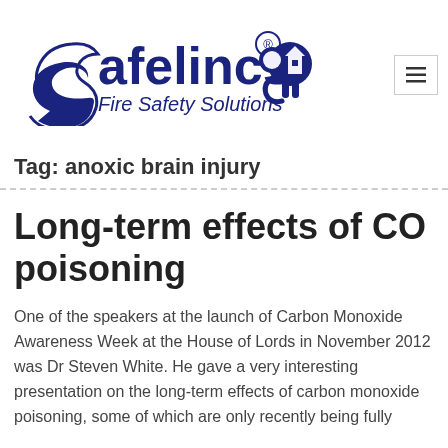[Figure (logo): Safelincs Fire Safety Solutions logo with stylized elephant and house icon in dark blue]
Tag: anoxic brain injury
Long-term effects of CO poisoning
One of the speakers at the launch of Carbon Monoxide Awareness Week at the House of Lords in November 2012 was Dr Steven White. He gave a very interesting presentation on the long-term effects of carbon monoxide poisoning, some of which are only recently being fully